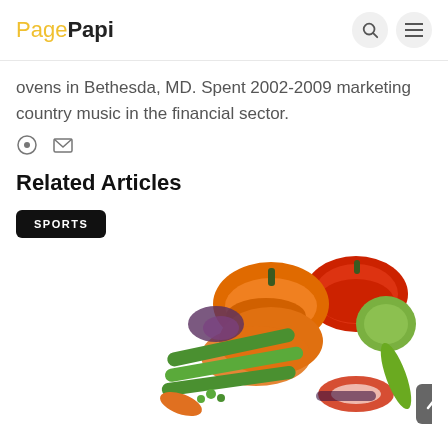PagePapi
ovens in Bethesda, MD. Spent 2002-2009 marketing country music in the financial sector.
Related Articles
SPORTS
[Figure (photo): Colorful assortment of fresh vegetables including bell peppers, snap peas, brussel sprouts, and other vegetables arranged on a white background]